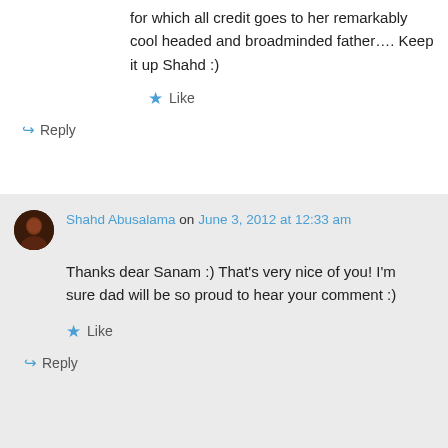for which all credit goes to her remarkably cool headed and broadminded father…. Keep it up Shahd :)
★ Like
↳ Reply
Shahd Abusalama on June 3, 2012 at 12:33 am
Thanks dear Sanam :) That's very nice of you! I'm sure dad will be so proud to hear your comment :)
★ Like
↳ Reply